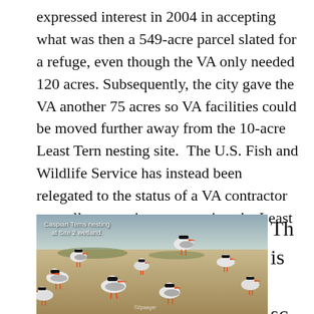expressed interest in 2004 in accepting what was then a 549-acre parcel slated for a refuge, even though the VA only needed 120 acres. Subsequently, the city gave the VA another 75 acres so VA facilities could be moved further away from the 10-acre Least Tern nesting site. The U.S. Fish and Wildlife Service has instead been relegated to the status of a VA contractor annually managing one species, the Least Terns, a quarter mile from Site 2.
[Figure (photo): Photograph of Caspian Terns nesting at Site 2 wetland. Multiple white and black birds with orange-red beaks are grouped on sandy ground with sparse green grass. Caption reads: Caspian Terns nesting at Site 2 wetland.]
This scenic